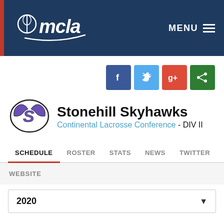[Figure (logo): MCLA (Men's Collegiate Lacrosse Association) website header with logo on dark navy blue background and MENU hamburger icon]
[Figure (other): Row of social media share buttons: Facebook (blue), Twitter (light blue), Google+ (red), Share (green)]
[Figure (logo): Stonehill Skyhawks winged S logo in purple and black]
Stonehill Skyhawks
Continental Lacrosse Conference - DIV II
SCHEDULE   ROSTER   STATS   NEWS   TWITTER
WEBSITE
2020